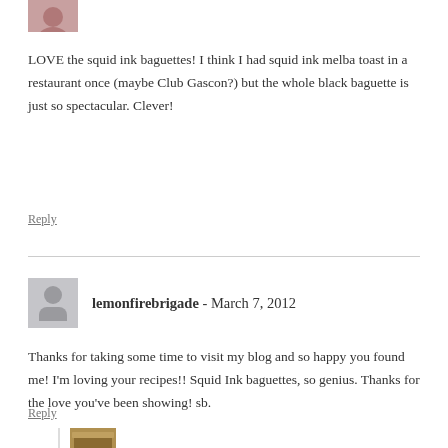[Figure (photo): Small avatar photo of a person at top left]
LOVE the squid ink baguettes! I think I had squid ink melba toast in a restaurant once (maybe Club Gascon?) but the whole black baguette is just so spectacular. Clever!
Reply
lemonfirebrigade - March 7, 2012
Thanks for taking some time to visit my blog and so happy you found me! I'm loving your recipes!! Squid Ink baguettes, so genius. Thanks for the love you've been showing! sb.
Reply
[Figure (photo): Small avatar photo (food/bread image) for thelittleloaf comment]
thelittleloaf - March 8, 2012
Kavey – haha, yep it does look pretty weird, but it's so much fun!